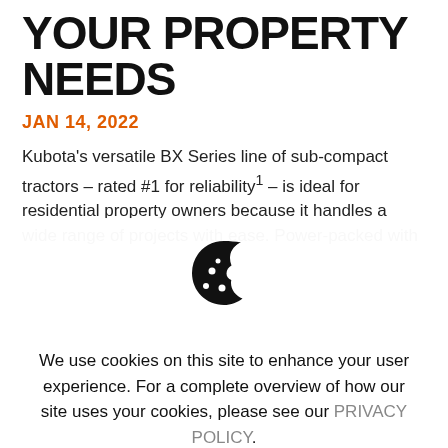YOUR PROPERTY NEEDS
JAN 14, 2022
Kubota’s versatile BX Series line of sub-compact tractors – rated #1 for reliability¹ – is ideal for residential property owners because it handles a wide range of projects with ease. Power-packed with a multitude of performance-matched attachments, this small but mighty lineup can tackle just about any job on
[Figure (illustration): Cookie icon: a cookie with bite taken out, showing chocolate chip dots]
We use cookies on this site to enhance your user experience. For a complete overview of how our site uses your cookies, please see our PRIVACY POLICY.
HIDE MESSAGE